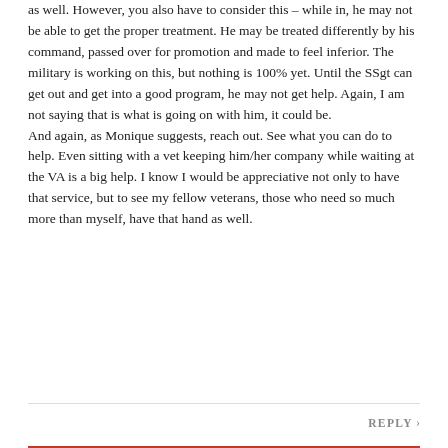as well. However, you also have to consider this – while in, he may not be able to get the proper treatment. He may be treated differently by his command, passed over for promotion and made to feel inferior. The military is working on this, but nothing is 100% yet. Until the SSgt can get out and get into a good program, he may not get help. Again, I am not saying that is what is going on with him, it could be.
And again, as Monique suggests, reach out. See what you can do to help. Even sitting with a vet keeping him/her company while waiting at the VA is a big help. I know I would be appreciative not only to have that service, but to see my fellow veterans, those who need so much more than myself, have that hand as well.
REPLY ›